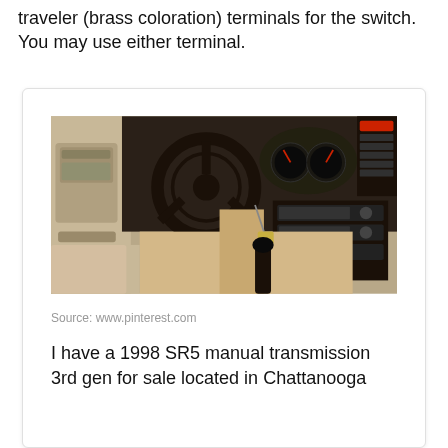traveler (brass coloration) terminals for the switch. You may use either terminal.
[Figure (photo): Photo of a 1998 Toyota 4Runner SR5 interior showing steering wheel, dashboard, manual gear shift, tan/beige interior with door panel visible on left.]
Source: www.pinterest.com
I have a 1998 SR5 manual transmission 3rd gen for sale located in Chattanooga